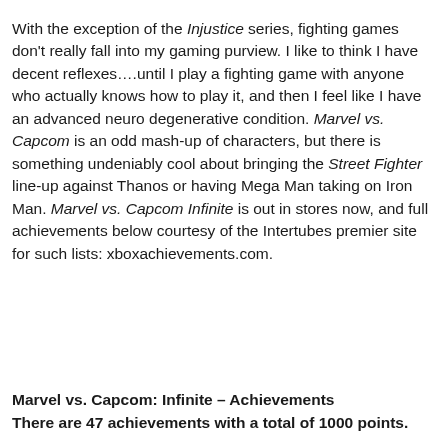With the exception of the Injustice series, fighting games don't really fall into my gaming purview.  I like to think I have decent reflexes….until I play a fighting game with anyone who actually knows how to play it, and then I feel like I have an advanced neuro degenerative condition.  Marvel vs. Capcom is an odd mash-up of characters, but there is something undeniably cool about bringing the Street Fighter line-up against Thanos or having Mega Man taking on Iron Man.  Marvel vs. Capcom Infinite is out in stores now, and full achievements below courtesy of the Intertubes premier site for such lists: xboxachievements.com.
Marvel vs. Capcom: Infinite – Achievements
There are 47 achievements with a total of 1000 points.